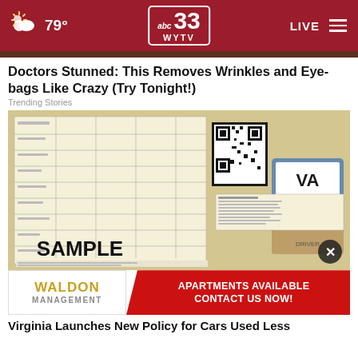79° | abc 33 WYTV | LIVE
Doctors Stunned: This Removes Wrinkles and Eye-bags Like Crazy (Try Tonight!)
Trending Stories
[Figure (photo): Photo of a sample vehicle registration or document with QR code and barcode, labeled SAMPLE, with a hand holding a card in background]
[Figure (photo): Advertisement: Waldon Management - Apartments Available Contact Us Now!]
Virginia Launches New Policy for Cars Used Less